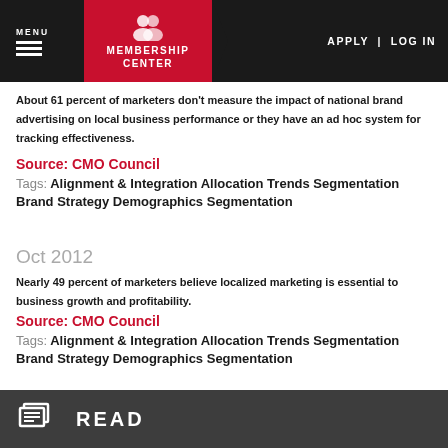MENU | MEMBERSHIP CENTER | APPLY | LOG IN
About 61 percent of marketers don't measure the impact of national brand advertising on local business performance or they have an ad hoc system for tracking effectiveness.
Source: CMO Council
Tags: Alignment & Integration Allocation Trends Segmentation Brand Strategy Demographics Segmentation
Oct 2012
Nearly 49 percent of marketers believe localized marketing is essential to business growth and profitability.
Source: CMO Council
Tags: Alignment & Integration Allocation Trends Segmentation Brand Strategy Demographics Segmentation
GO TO INSIGHT CENTER TO LEARN MORE
READ